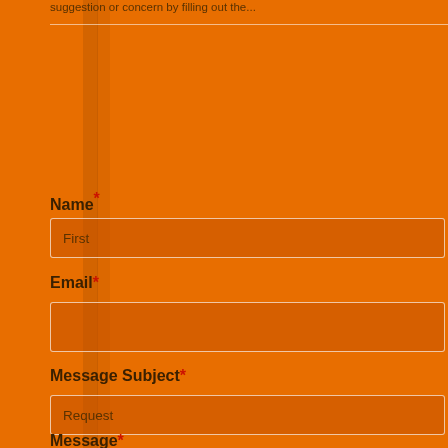suggestion or concern by filling out the...
Name*
First
Email*
Message Subject*
Request
Message*